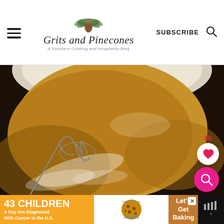Grits and Pinecones — A Southern Cooking and Hospitality Blog — SUBSCRIBE
[Figure (photo): Close-up photo of a whisk being used to mix a golden-brown batter or gravy in a white bowl, with cream/white swirl visible. Like button with count 98 and pink search button overlaid on right side.]
[Figure (infographic): Advertisement banner: '43 CHILDREN A Day Are Diagnosed With Cancer in the U.S.' with cookies for kids' cancer logo and 'Let's Get Baking' text.]